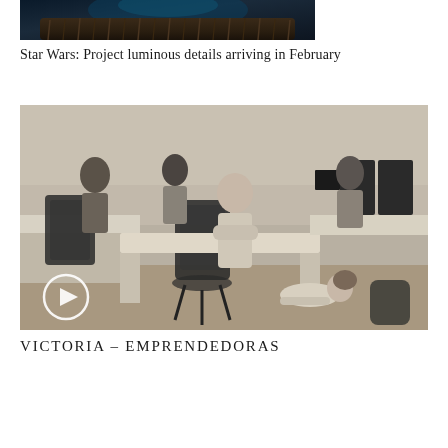[Figure (photo): Partial top view of a dark furry creature (possibly Star Wars character) against a blue-tinted background — image is cropped showing only top portion]
Star Wars: Project luminous details arriving in February
[Figure (photo): Black and white photo of an open-plan office with several women working at desks; a young girl lies on the floor drawing. A play button overlay is visible in the bottom-left corner.]
VICTORIA – EMPRENDEDORAS